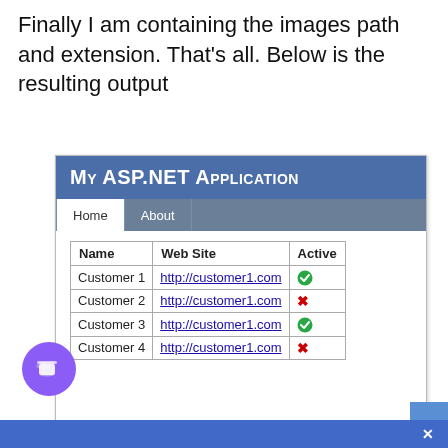Finally I am containing the images path and extension. That's all. Below is the resulting output
[Figure (screenshot): Screenshot of a My ASP.NET Application web page showing a navigation bar with Home and About links, and a table listing Customer 1–4 with their web sites (http://customer1.com) and Active status (green checkmark or red X).]